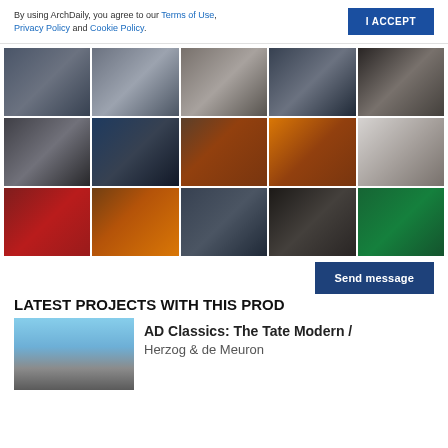By using ArchDaily, you agree to our Terms of Use, Privacy Policy and Cookie Policy.
I ACCEPT
[Figure (photo): Grid of 15 museum interior photographs showing display cases and exhibition spaces]
Send message
LATEST PROJECTS WITH THIS PRODUCT
[Figure (photo): Photo of Tate Modern building exterior with blue sky]
AD Classics: The Tate Modern / Herzog & de Meuron